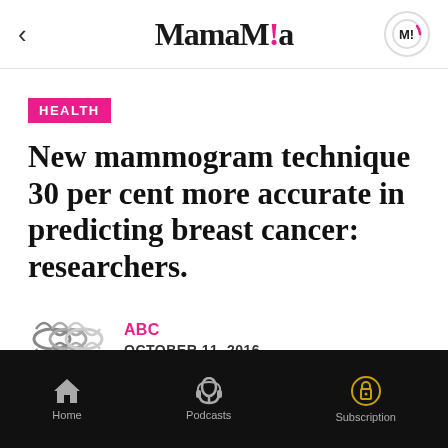MamaMia
HEALTH
New mammogram technique 30 per cent more accurate in predicting breast cancer: researchers.
[Figure (logo): ABC broadcaster logo — two overlapping circular wave shapes in grey/silver]
ABC
OCTOBER 11, 2016
Home  Podcasts  Subscription